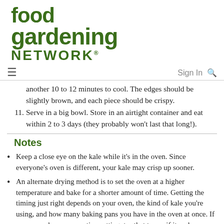[Figure (logo): Food Gardening Network logo in dark green bold text]
Sign In 🔍
another 10 to 12 minutes to cool. The edges should be slightly brown, and each piece should be crispy.
11. Serve in a big bowl. Store in an airtight container and eat within 2 to 3 days (they probably won't last that long!).
Notes
Keep a close eye on the kale while it's in the oven. Since everyone's oven is different, your kale may crisp up sooner.
An alternate drying method is to set the oven at a higher temperature and bake for a shorter amount of time. Getting the timing just right depends on your oven, the kind of kale you're using, and how many baking pans you have in the oven at once. If your oven has a convection setting, try that to see if it makes a